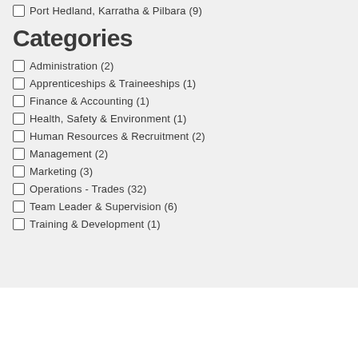Port Hedland, Karratha & Pilbara (9)
Categories
Administration (2)
Apprenticeships & Traineeships (1)
Finance & Accounting (1)
Health, Safety & Environment (1)
Human Resources & Recruitment (2)
Management (2)
Marketing (3)
Operations - Trades (32)
Team Leader & Supervision (6)
Training & Development (1)